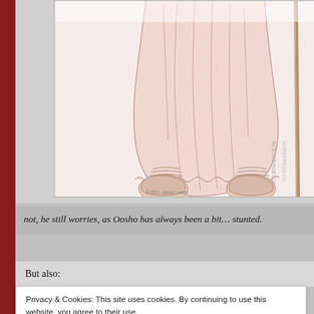[Figure (illustration): Line art illustration of a short robed figure (Oosho) wearing a long flowing robe with decorative hem, wrapped leg bandages, and holding a tall staff. The figure is cropped to show mainly the lower body. Copyright notice: ©2011 Jared Lewis. Partial watermark visible on right side: ACESTERDELUI WORDPRESS.COI]
not, he still worries, as Oosho has always been a bit… stunted.
But also:
Privacy & Cookies: This site uses cookies. By continuing to use this website, you agree to their use.
To find out more, including how to control cookies, see here: Cookie Policy